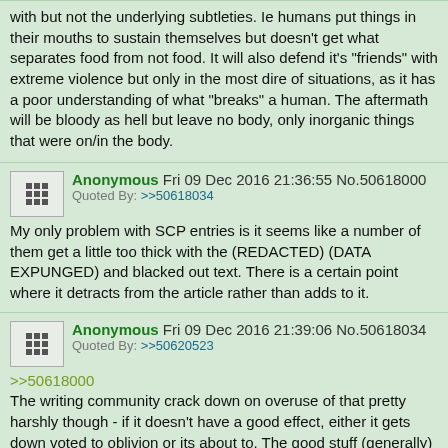with but not the underlying subtleties. Ie humans put things in their mouths to sustain themselves but doesn't get what separates food from not food. It will also defend it's "friends" with extreme violence but only in the most dire of situations, as it has a poor understanding of what "breaks" a human. The aftermath will be bloody as hell but leave no body, only inorganic things that were on/in the body.
Anonymous Fri 09 Dec 2016 21:36:55 No.50618000
Quoted By: >>50618034
My only problem with SCP entries is it seems like a number of them get a little too thick with the (REDACTED) (DATA EXPUNGED) and blacked out text. There is a certain point where it detracts from the article rather than adds to it.
Anonymous Fri 09 Dec 2016 21:39:06 No.50618034
Quoted By: >>50620523
>>50618000
The writing community crack down on overuse of that pretty harshly though - if it doesn't have a good effect, either it gets down voted to oblivion or its about to. The good stuff (generally) handles expungements well.
Anonymous Fri 09 Dec 2016 21:40:39 No.50618054
Always 999.